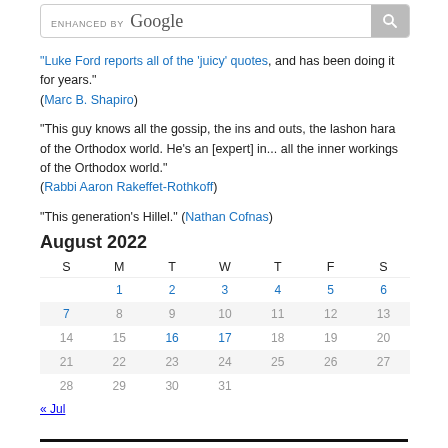[Figure (other): Google Enhanced search bar with search icon button]
"Luke Ford reports all of the 'juicy' quotes, and has been doing it for years." (Marc B. Shapiro)
"This guy knows all the gossip, the ins and outs, the lashon hara of the Orthodox world. He’s an [expert] in... all the inner workings of the Orthodox world." (Rabbi Aaron Rakeffet-Rothkoff)
"This generation’s Hillel." (Nathan Cofnas)
August 2022
| S | M | T | W | T | F | S |
| --- | --- | --- | --- | --- | --- | --- |
|  | 1 | 2 | 3 | 4 | 5 | 6 |
| 7 | 8 | 9 | 10 | 11 | 12 | 13 |
| 14 | 15 | 16 | 17 | 18 | 19 | 20 |
| 21 | 22 | 23 | 24 | 25 | 26 | 27 |
| 28 | 29 | 30 | 31 |  |  |  |
« Jul